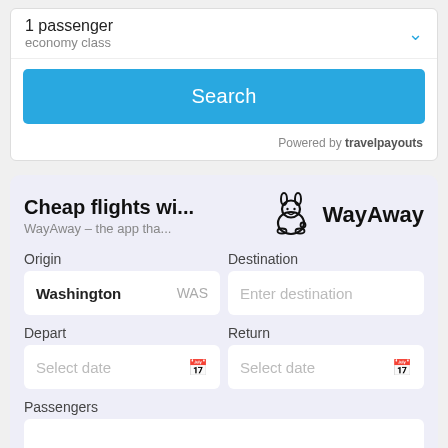1 passenger
economy class
Search
Powered by travelpayouts
Cheap flights wi...
WayAway – the app tha...
[Figure (logo): WayAway mascot logo with rabbit character and WayAway brand text]
Origin
Washington   WAS
Destination
Enter destination
Depart
Select date
Return
Select date
Passengers